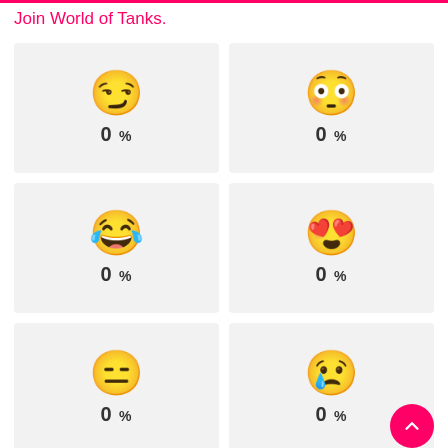Join World of Tanks.
[Figure (infographic): Grid of 6 emoji reaction cards each showing 0%, arranged in 2 columns and 3 rows. Emojis: smirking face, flushed face, laughing crying face, heart eyes face, expressionless face, sad face. Each card shows 0%.]
[Figure (other): Pink circular FAB button with upward chevron arrow in bottom right corner.]